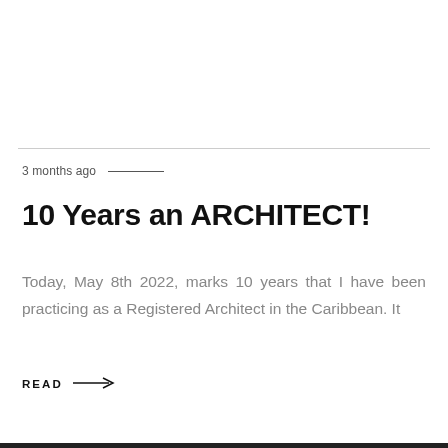3 months ago
10 Years an ARCHITECT!
Today, May 8th 2022, marks 10 years that I have been practicing as a Registered Architect in the Caribbean. It
READ →